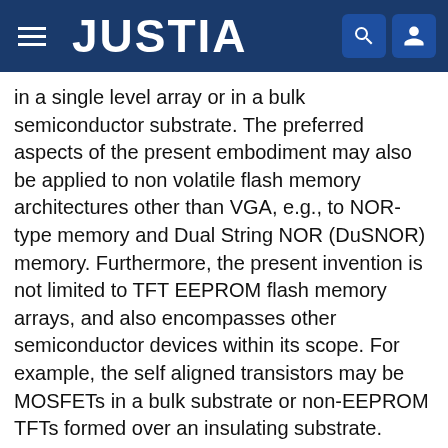JUSTIA
in a single level array or in a bulk semiconductor substrate. The preferred aspects of the present embodiment may also be applied to non volatile flash memory architectures other than VGA, e.g., to NOR-type memory and Dual String NOR (DuSNOR) memory. Furthermore, the present invention is not limited to TFT EEPROM flash memory arrays, and also encompasses other semiconductor devices within its scope. For example, the self aligned transistors may be MOSFETs in a bulk substrate or non-EEPROM TFTs formed over an insulating substrate. These self aligned transistors may be used as non-flash EEPROMs (i.e., EEPROMs where each transistor is erased separately), UV erasable PROMs (EPROMs), mask ROMs, dynamic random access memories (DRAMs), liquid crystal displays (LCDs), field programmable gate arrays (FPGA) and microprocessors.